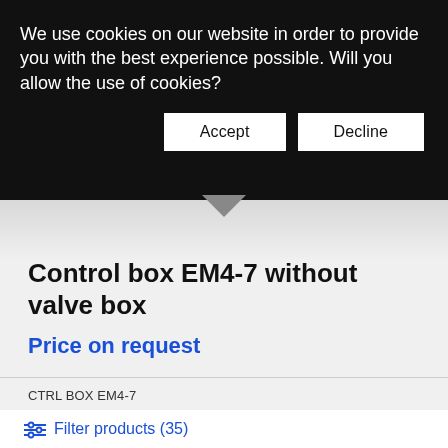We use cookies on our website in order to provide you with the best experience possible. Will you allow the use of cookies?
Accept
Decline
[Figure (photo): Partial view of a product (control box) with grey/silver tone, arrow pointing down toward product listing]
Control box EM4-7 without valve box
Price on request
CTRL BOX EM4-7
Filter products (35)